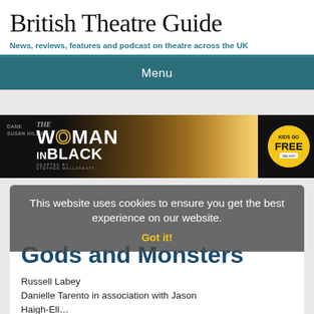British Theatre Guide
News, reviews, features and podcast on theatre across the UK
Menu
[Figure (illustration): Advertisement banner for 'The Woman in Black' by Dame Susan Hill, adapted by Stephen Malla Tratt, with 'Kids Go Free' badge]
This website uses cookies to ensure you get the best experience on our website.
Got it!
Gods and Monsters
Russell Labey
Danielle Tarento in association with Jason
Haigh-Ell...